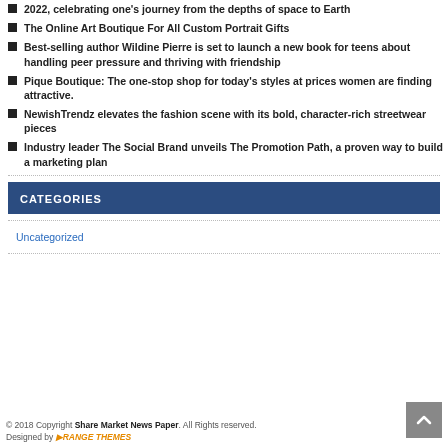2022, celebrating one's journey from the depths of space to Earth
The Online Art Boutique For All Custom Portrait Gifts
Best-selling author Wildine Pierre is set to launch a new book for teens about handling peer pressure and thriving with friendship
Pique Boutique: The one-stop shop for today's styles at prices women are finding attractive.
NewishTrendz elevates the fashion scene with its bold, character-rich streetwear pieces
Industry leader The Social Brand unveils The Promotion Path, a proven way to build a marketing plan
CATEGORIES
Uncategorized
© 2018 Copyright Share Market News Paper. All Rights reserved. Designed by ORANGE THEMES